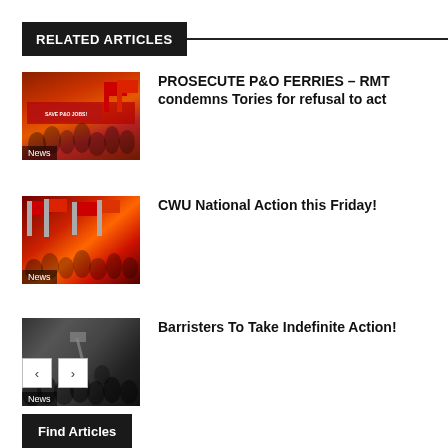RELATED ARTICLES
[Figure (photo): Protest crowd with red banners and signs reading SAVE P&O JOBS and UK'S FERRIES, with News label]
PROSECUTE P&O FERRIES – RMT condemns Tories for refusal to act
[Figure (photo): Protest crowd with red flags, News label]
CWU National Action this Friday!
[Figure (photo): Crowd of people at a rally, News label]
Barristers To Take Indefinite Action!
< >
Find Articles